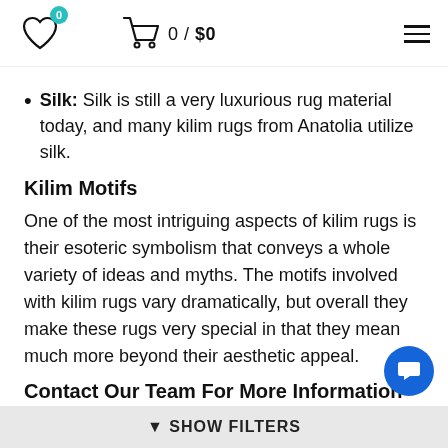0 / $0
Silk: Silk is still a very luxurious rug material today, and many kilim rugs from Anatolia utilize silk.
Kilim Motifs
One of the most intriguing aspects of kilim rugs is their esoteric symbolism that conveys a whole variety of ideas and myths. The motifs involved with kilim rugs vary dramatically, but overall they make these rugs very special in that they mean much more beyond their aesthetic appeal.
Contact Our Team For More Information
Kilim rugs are among the most unique and beaut...